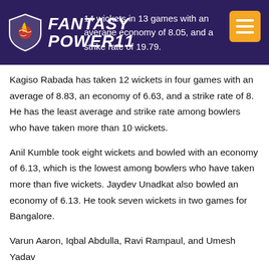Fantasy Power 11 — ...d 14 wickets in 13 games with an average economy of 8.05, and a strike rate of 19.79.
Kagiso Rabada has taken 12 wickets in four games with an average of 8.83, an economy of 6.63, and a strike rate of 8. He has the least average and strike rate among bowlers who have taken more than 10 wickets.
Anil Kumble took eight wickets and bowled with an economy of 6.13, which is the lowest among bowlers who have taken more than five wickets. Jaydev Unadkat also bowled an economy of 6.13. He took seven wickets in two games for Bangalore.
Varun Aaron, Iqbal Abdulla, Ravi Rampaul, and Umesh Yadav